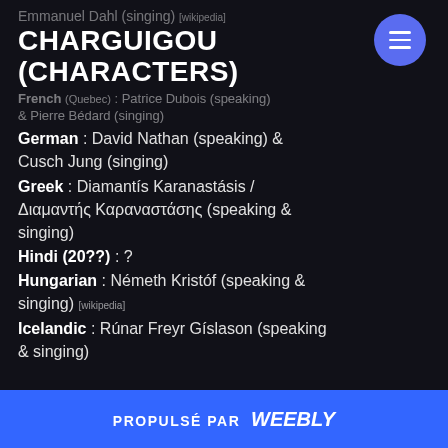CHARGUIGOU (CHARACTERS)
Emmanuel Dahl (singing) [wikipedia]
French (Quebec) : Patrice Dubois (speaking) & Pierre Bédard (singing)
German : David Nathan (speaking) & Cusch Jung (singing)
Greek : Diamantís Karanastásis / Διαμαντής Καραναστάσης (speaking & singing)
Hindi (20??) : ?
Hungarian : Németh Kristóf (speaking & singing) [wikipedia]
Icelandic : Rúnar Freyr Gíslason (speaking & singing)
PROPULSÉ PAR weebly